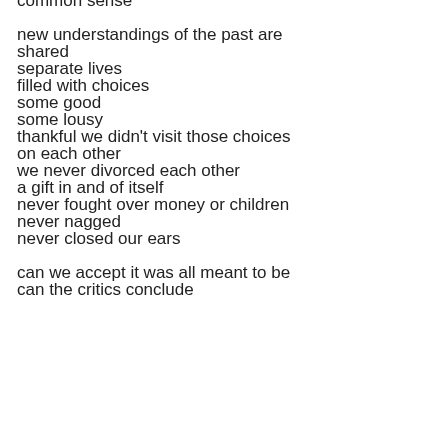common sense

new understandings of the past are
shared
separate lives
filled with choices
some good
some lousy
thankful we didn't visit those choices
on each other
we never divorced each other
a gift in and of itself
never fought over money or children
never nagged
never closed our ears

can we accept it was all meant to be
can the critics conclude